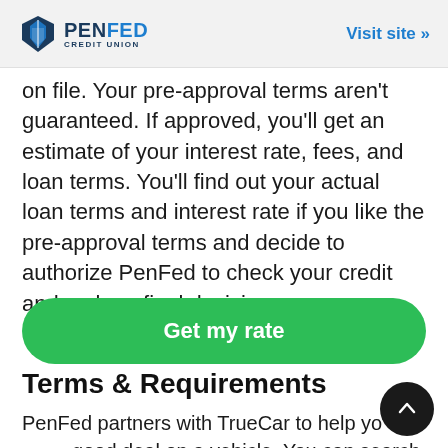PenFed Credit Union | Visit site »
on file. Your pre-approval terms aren't guaranteed. If approved, you'll get an estimate of your interest rate, fees, and loan terms. You'll find out your actual loan terms and interest rate if you like the pre-approval terms and decide to authorize PenFed to check your credit and make a final decision.
[Figure (other): Green rounded button labeled 'Get my rate']
Terms & Requirements
PenFed partners with TrueCar to help you get a good deal on a vehicle. You can search the TrueCar site by zip code and car model. You can also buy